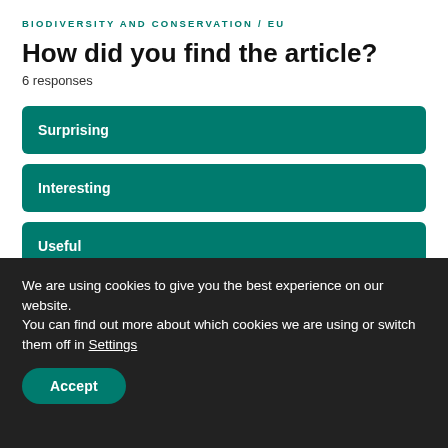BIODIVERSITY AND CONSERVATION / EU
How did you find the article?
6 responses
Surprising
Interesting
Useful
Not useful
We are using cookies to give you the best experience on our website.
You can find out more about which cookies we are using or switch them off in Settings
Accept